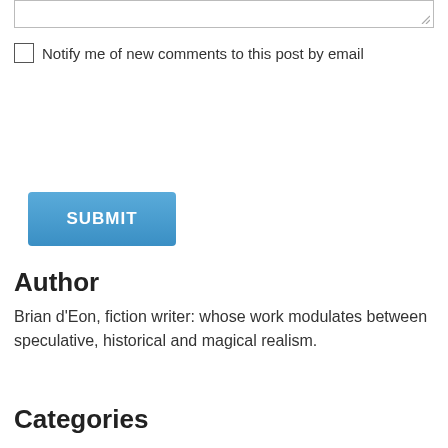[textarea input box]
Notify me of new comments to this post by email
SUBMIT
Author
Brian d'Eon, fiction writer: whose work modulates between speculative, historical and magical realism.
Categories